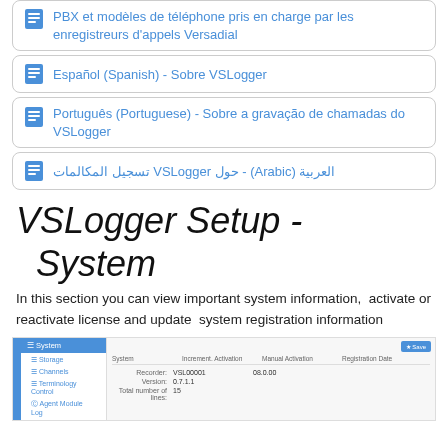PBX et modèles de téléphone pris en charge par les enregistreurs d'appels Versadial
Español (Spanish) - Sobre VSLogger
Português (Portuguese) - Sobre a gravação de chamadas do VSLogger
العربية (Arabic) - حول VSLogger تسجيل المكالمات
VSLogger Setup  -  System
In this section you can view important system information, activate or reactivate license and update  system registration information
[Figure (screenshot): Screenshot of VSLogger System setup panel showing sidebar navigation and system information table with Recorder, Version, and Total number of lines rows]